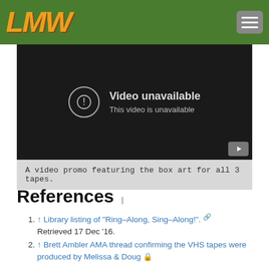LMW logo and navigation menu
[Figure (screenshot): Embedded YouTube video player showing 'Video unavailable — This video is unavailable' error message with a YouTube button in the lower right corner.]
A video promo featuring the box art for all 3 tapes.
References
↑ Library listing of "Ring-Along, Sing-Along!". Retrieved 17 Dec '16.
↑ Brett Ambler AMA thread confirming the VHS tapes were produced by Melissa & Doug 🔒